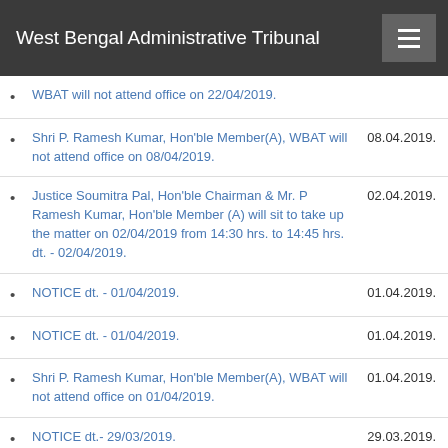West Bengal Administrative Tribunal
WBAT will not attend office on 22/04/2019.
Shri P. Ramesh Kumar, Hon'ble Member(A), WBAT will not attend office on 08/04/2019.
Justice Soumitra Pal, Hon'ble Chairman & Mr. P Ramesh Kumar, Hon'ble Member (A) will sit to take up the matter on 02/04/2019 from 14:30 hrs. to 14:45 hrs. dt. - 02/04/2019.
NOTICE dt. - 01/04/2019.
NOTICE dt. - 01/04/2019.
Shri P. Ramesh Kumar, Hon'ble Member(A), WBAT will not attend office on 01/04/2019.
NOTICE dt.- 29/03/2019.
NOTICE dt.- 28/03/2019.